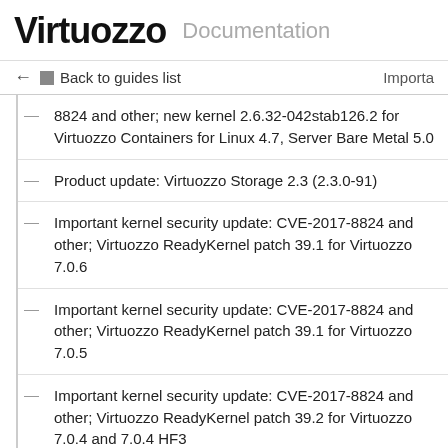Virtuozzo Documentation
← Back to guides list  Importa
8824 and other; new kernel 2.6.32-042stab126.2 for Virtuozzo Containers for Linux 4.7, Server Bare Metal 5.0
Product update: Virtuozzo Storage 2.3 (2.3.0-91)
Important kernel security update: CVE-2017-8824 and other; Virtuozzo ReadyKernel patch 39.1 for Virtuozzo 7.0.6
Important kernel security update: CVE-2017-8824 and other; Virtuozzo ReadyKernel patch 39.1 for Virtuozzo 7.0.5
Important kernel security update: CVE-2017-8824 and other; Virtuozzo ReadyKernel patch 39.2 for Virtuozzo 7.0.4 and 7.0.4 HF3
Product update: Virtuozzo 7.0 Update 6 Hotfix